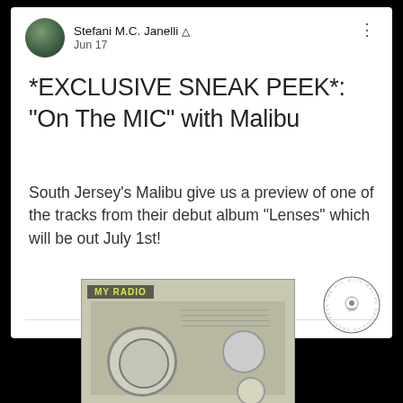Stefani M.C. Janelli ▲ Jun 17
*EXCLUSIVE SNEAK PEEK*: "On The MIC" with Malibu
South Jersey's Malibu give us a preview of one of the tracks from their debut album "Lenses" which will be out July 1st!
[Figure (photo): Album art or music thumbnail showing a vintage radio with 'MY RADIO' text overlay, in sepia/greyscale tones]
[Figure (logo): Circular badge logo with text around the perimeter and small graphic in the center]